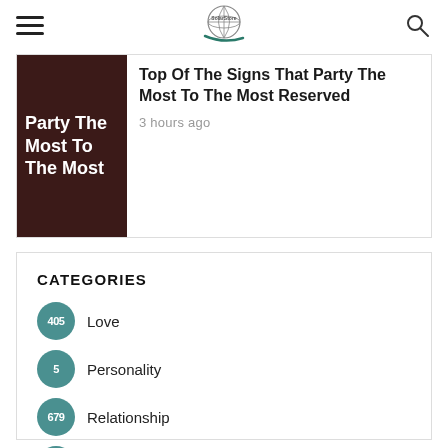Navigation header with hamburger menu, logo, and search icon
[Figure (screenshot): Article thumbnail: dark brown background with white bold text reading 'Party The Most To The Most']
Top Of The Signs That Party The Most To The Most Reserved
3 hours ago
CATEGORIES
405 Love
5 Personality
679 Relationship
3625 Zodiac